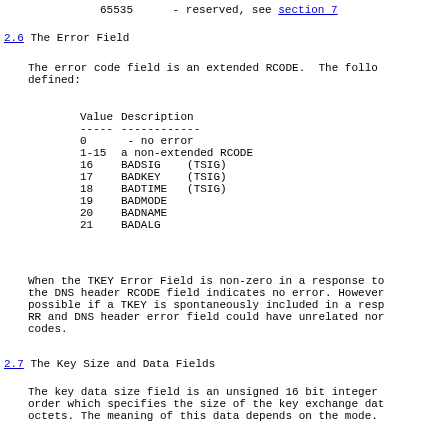65535    - reserved, see section 7
2.6 The Error Field
The error code field is an extended RCODE. The following are defined:
| Value | Description |
| --- | --- |
| ----- | ------------ |
| 0 | - no error |
| 1-15 | a non-extended RCODE |
| 16 | BADSIG    (TSIG) |
| 17 | BADKEY    (TSIG) |
| 18 | BADTIME   (TSIG) |
| 19 | BADMODE |
| 20 | BADNAME |
| 21 | BADALG |
When the TKEY Error Field is non-zero in a response to the DNS header RCODE field indicates no error. However possible if a TKEY is spontaneously included in a resp RR and DNS header error field could have unrelated nor codes.
2.7 The Key Size and Data Fields
The key data size field is an unsigned 16 bit integer order which specifies the size of the key exchange dat octets. The meaning of this data depends on the mode.